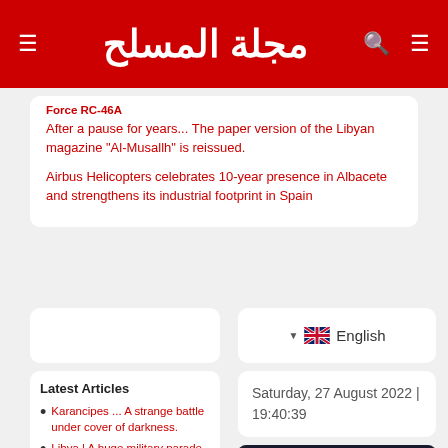مجلة المسلح
Force RC-46A
After a pause for years... The paper version of the Libyan magazine "Al-Musallh" is reissued.
Airbus Helicopters celebrates 10-year presence in Albacete and strengthens its industrial footprint in Spain
English
Latest Articles
Karancipes ... A strange battle under cover of darkness.
Libya | A huge military parade to celebrate
Saturday, 27 August 2022 | 19:40:39